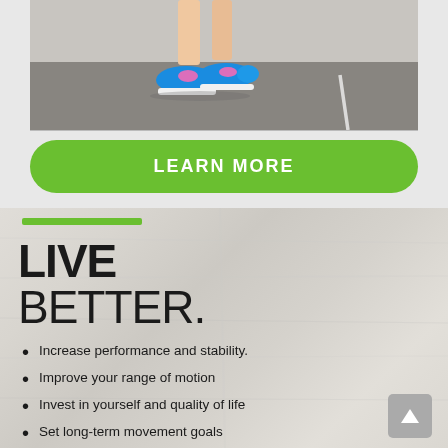[Figure (photo): Person tying blue running shoes on a road/asphalt surface, shot from low angle showing legs and sneakers]
LEARN MORE
LIVE
BETTER.
Increase performance and stability.
Improve your range of motion
Invest in yourself and quality of life
Set long-term movement goals
Establish a wellness routine